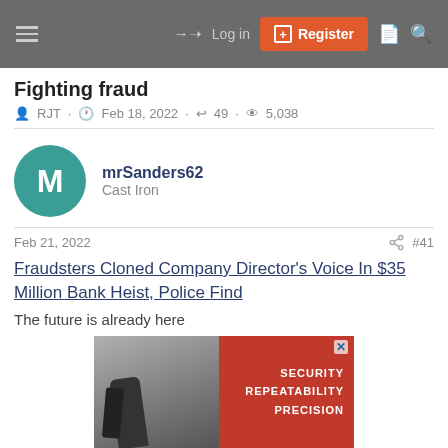Log in | Register
Fighting fraud
RJT · Feb 18, 2022 · 49 · 5,038
mrSanders62
Cast Iron
Feb 21, 2022  #41
Fraudsters Cloned Company Director's Voice In $35 Million Bank Heist, Police Find
The future is already here
[Figure (photo): Advertisement image with security-related content showing text: SECURITY REPEATABILITY PRECISION on a red diagonal background with a close-up photo of machinery or tools on the left.]